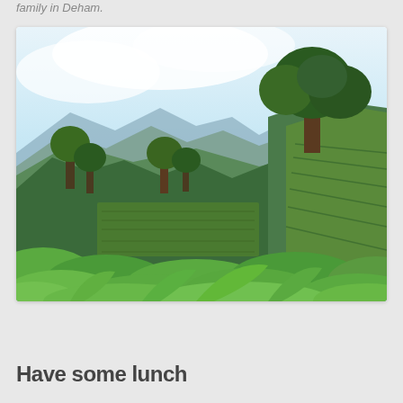family in Deham.
[Figure (photo): A lush green hillside landscape with tropical trees and coffee plants, mountains visible in the background under a pale blue sky. Dense green vegetation covers rolling hills.]
Have some lunch